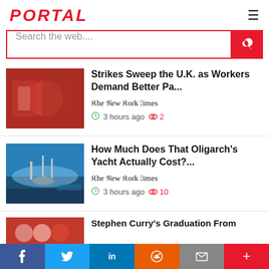PORTAL
Search the web....
Strikes Sweep the U.K. as Workers Demand Better Pa...
The New York Times
3 hours ago  2
How Much Does That Oligarch's Yacht Actually Cost?...
The New York Times
3 hours ago  10
Stephen Curry's Graduation From
f  t  in  reddit  mail  +